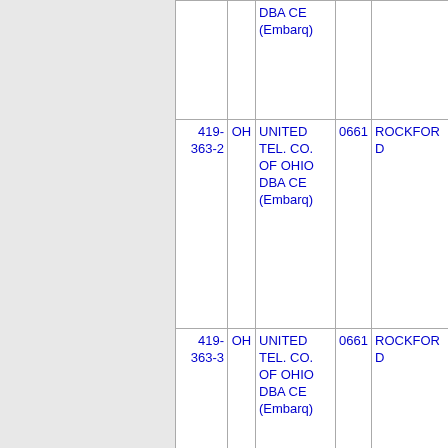| Phone | State | Company | Code | City |
| --- | --- | --- | --- | --- |
|  |  | DBA CE (Embarq) |  |  |
| 419-363-2 | OH | UNITED TEL. CO. OF OHIO DBA CE (Embarq) | 0661 | ROCKFORD |
| 419-363-3 | OH | UNITED TEL. CO. OF OHIO DBA CE (Embarq) | 0661 | ROCKFORD |